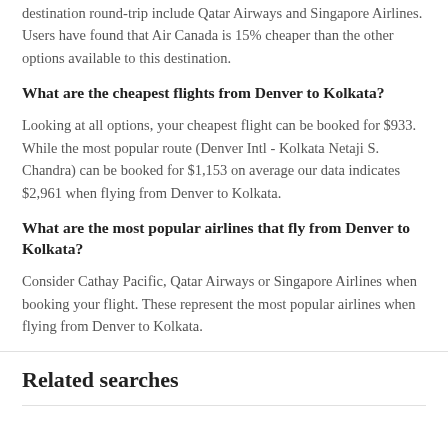destination round-trip include Qatar Airways and Singapore Airlines. Users have found that Air Canada is 15% cheaper than the other options available to this destination.
What are the cheapest flights from Denver to Kolkata?
Looking at all options, your cheapest flight can be booked for $933. While the most popular route (Denver Intl - Kolkata Netaji S. Chandra) can be booked for $1,153 on average our data indicates $2,961 when flying from Denver to Kolkata.
What are the most popular airlines that fly from Denver to Kolkata?
Consider Cathay Pacific, Qatar Airways or Singapore Airlines when booking your flight. These represent the most popular airlines when flying from Denver to Kolkata.
Related searches